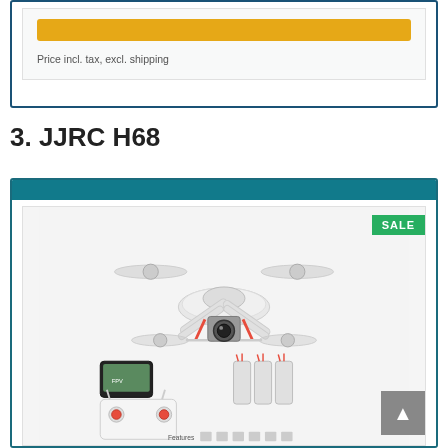Price incl. tax, excl. shipping
3. JJRC H68
[Figure (photo): Product listing card for JJRC H68 drone with teal header bar. Shows a white quadcopter drone with camera gimbal, a smartphone with FPV screen, a remote controller, three spare batteries, and feature icons at the bottom. A green SALE badge in the top right corner of the product image.]